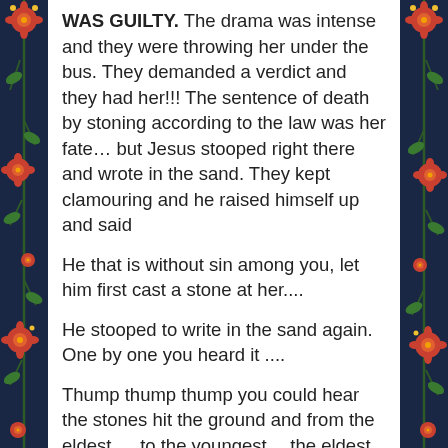[Figure (illustration): Decorative floral border on the left side with orange/red flowers and green leaves on a dark navy background]
[Figure (illustration): Decorative floral border on the right side with orange/red flowers and green leaves on a dark navy background]
WAS GUILTY.  The drama was intense and they were throwing her under the bus. They  demanded a verdict and they had her!!!  The sentence of death by stoning according to the law was her fate… but Jesus stooped right there and wrote in the sand. They kept clamouring and he raised himself up and said
He that is without sin among you, let him first cast a stone at her....
He stooped to write in the sand again. One by one you heard it ....
Thump thump thump you could hear the stones hit the ground and from the eldest … to the youngest… the eldest knew they had been had  and were revealed and the younger followed as the drama began subsiding….  Here's the point. Even when we are guilty…  even when the world has seen our fall and